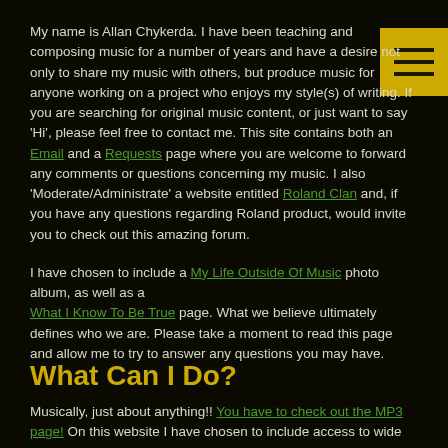My name is Allan Chykerda. I have been teaching and composing music for a number of years and have a desire not only to share my music with others, but produce music for anyone working on a project who enjoys my style(s) of writing. If you are searching for original music content, or just want to say 'Hi', please feel free to contact me. This site contains both an Email and a Requests page where you are welcome to forward any comments or questions concerning my music. I also 'Moderate/Administrate' a website entitled Roland Clan and, if you have any questions regarding Roland product, would invite you to check out this amazing forum.
I have chosen to include a My Life Outside Of Music photo album, as well as a What I Know To Be True page. What we believe ultimately defines who we are. Please take a moment to read this page and allow me to try to answer any questions you may have.
What Can I Do?
Musically, just about anything!! You have to check out the MP3 page! On this website I have chosen to include access to wide variety of original compositions in mp3 format. (Everything from Classical to Jazz; from Electronica to Contemporary